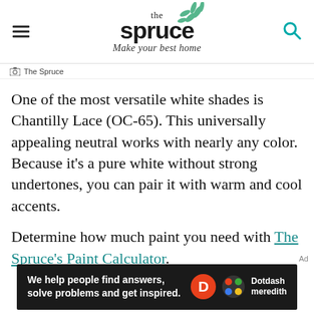the spruce — Make your best home
The Spruce
One of the most versatile white shades is Chantilly Lace (OC-65). This universally appealing neutral works with nearly any color. Because it's a pure white without strong undertones, you can pair it with warm and cool accents.
Determine how much paint you need with The Spruce's Paint Calculator.
[Figure (other): Dotdash Meredith advertisement banner: 'We help people find answers, solve problems and get inspired.' with Dotdash Meredith logo]